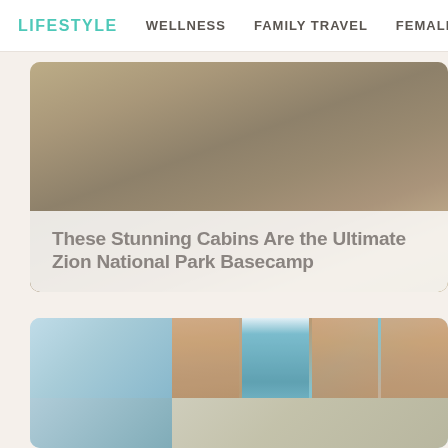LIFESTYLE   WELLNESS   FAMILY TRAVEL   FEMALE TRAV…
[Figure (photo): Cabin exterior with wooden deck, metal railing, and lush green trees in background, warm toned photograph]
These Stunning Cabins Are the Ultimate Zion National Park Basecamp
[Figure (photo): Collage of interior/exterior images of a colorful building with blue doors and brick walls, wellness or hotel property]